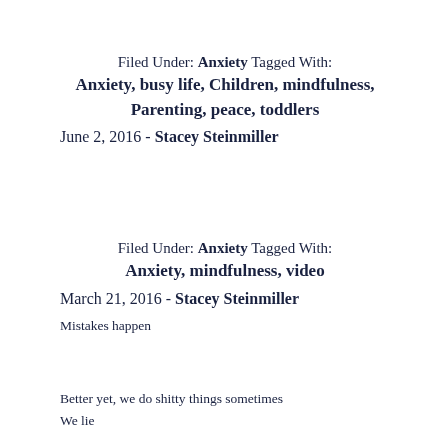Filed Under: Anxiety Tagged With: Anxiety, busy life, Children, mindfulness, Parenting, peace, toddlers
June 2, 2016 - Stacey Steinmiller
Filed Under: Anxiety Tagged With: Anxiety, mindfulness, video
March 21, 2016 - Stacey Steinmiller
Mistakes happen
Better yet, we do shitty things sometimes
We lie